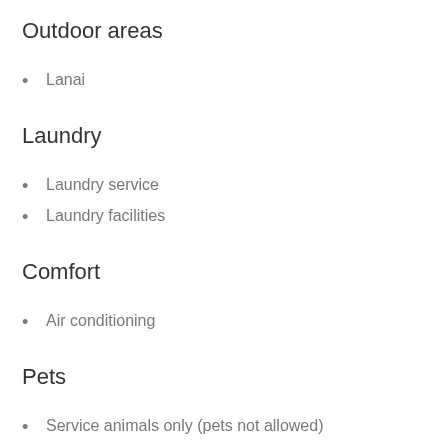Outdoor areas
Lanai
Laundry
Laundry service
Laundry facilities
Comfort
Air conditioning
Pets
Service animals only (pets not allowed)
Suitability/Accessibility